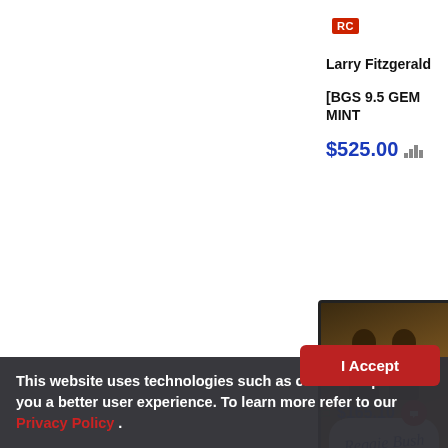RC
Larry Fitzgerald
[BGS 9.5 GEM MINT
$525.00
[Figure (photo): Graded sports card in a case showing two football players with dual autographs on a brown/gold background. 2006 SP Authentic Dual Signatures card.]
2006 SP Authentic - Dual Signatures #CH
$165.10
This website uses technologies such as cookies to provide you a better user experience. To learn more refer to our Privacy Policy .
I Accept